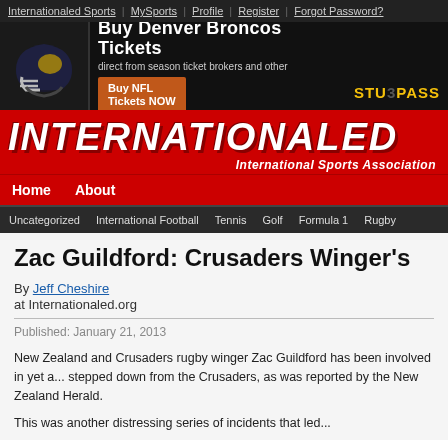Internationaled Sports | MySports | Profile | Register | Forgot Password?
[Figure (infographic): Buy Denver Broncos Tickets advertisement banner with Broncos helmet, text 'Buy Denver Broncos Tickets direct from season ticket brokers and other', 'Buy NFL Tickets NOW' button, and StubPass logo]
INTERNATIONALED — International Sports Association
Home | About
Uncategorized | International Football | Tennis | Golf | Formula 1 | Rugby
Zac Guildford: Crusaders Winger's
By Jeff Cheshire
at Internationaled.org
Published: January 21, 2013
New Zealand and Crusaders rugby winger Zac Guildford has been involved in yet a... stepped down from the Crusaders, as was reported by the New Zealand Herald.
This was another distressing series of incidents that led...